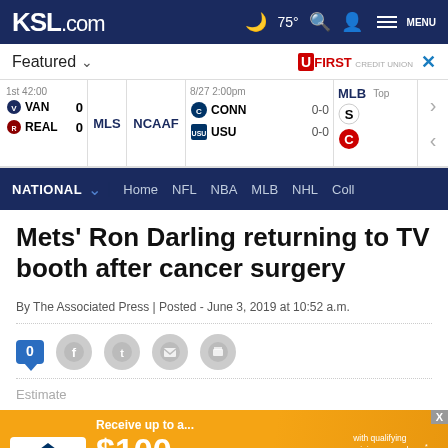KSL.com — 75° — NATIONAL navigation bar
Featured
[Figure (screenshot): Sports scores ticker showing MLS: VAN 0 vs REAL 0 (1st 42:00); NCAAF: CONN 0-0 vs USU 0-0 (8/27 2:00pm); MLB partial]
Mets' Ron Darling returning to TV booth after cancer surgery
By The Associated Press | Posted - June 3, 2019 at 10:52 a.m.
[Figure (infographic): Social share bar with comment count 0 badge and Facebook, Twitter, email, print icons]
[Figure (infographic): RC Willey advertisement: Receive up to a... $100 Gas or Grocery Reward Card with qualifying minimum purchase. LEARN MORE]
Estimate
Advertise with us    Report ad